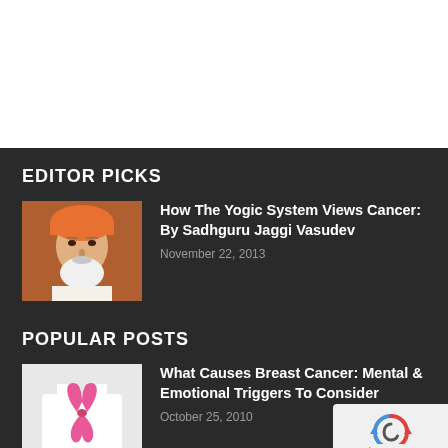EDITOR PICKS
[Figure (photo): Portrait photo of Sadhguru Jaggi Vasudev, elderly man with white beard and orange turban]
How The Yogic System Views Cancer: By Sadhguru Jaggi Vasudev
November 22, 2013
POPULAR POSTS
[Figure (photo): Person wearing white t-shirt with pink breast cancer awareness ribbon]
What Causes Breast Cancer: Mental & Emotional Triggers To Consider
October 25, 2010
[Figure (logo): Google reCAPTCHA widget with Privacy and Terms links]